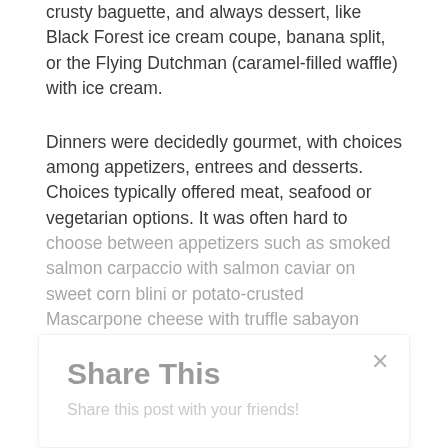crusty baguette, and always dessert, like Black Forest ice cream coupe, banana split, or the Flying Dutchman (caramel-filled waffle) with ice cream.
Dinners were decidedly gourmet, with choices among appetizers, entrees and desserts. Choices typically offered meat, seafood or vegetarian options. It was often hard to choose between appetizers such as smoked salmon carpaccio with salmon caviar on sweet corn blini or potato-crusted Mascarpone cheese with truffle sabayon sauce, or between seared crab cake with corn or tomato mozzarella tart with tomato confit or Filipino shrimp egg roll; or between entrees such as pan-fried char fillet with pea puree, baby corn, tomato concasse and
Share This
Share this post with your friends!